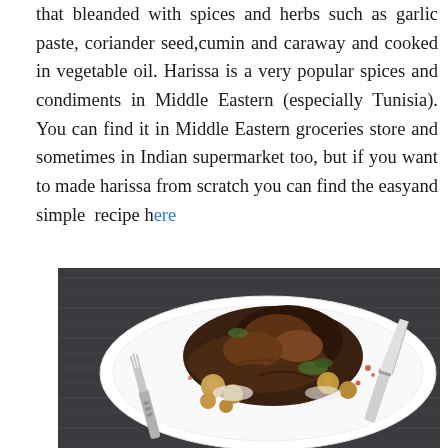that bleanded with spices and herbs such as garlic paste, coriander seed,cumin and caraway and cooked in vegetable oil. Harissa is a very popular spices and condiments in Middle Eastern (especially Tunisia). You can find it in Middle Eastern groceries store and sometimes in Indian supermarket too, but if you want to made harissa from scratch you can find the easyand simple recipe here
[Figure (photo): A white plate with cooked meat (lamb or beef), vegetables, and roasted potatoes, with a fork on the left and a knife on the right, on a dark grey background.]